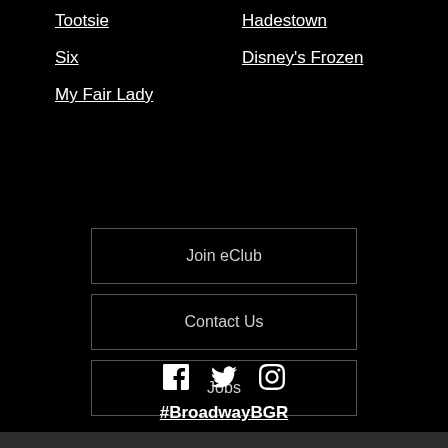Tootsie
Hadestown
Six
Disney's Frozen
My Fair Lady
Join eClub
Contact Us
Jobs
[Figure (illustration): Social media icons: Facebook, Twitter, Instagram]
#BroadwayBGR